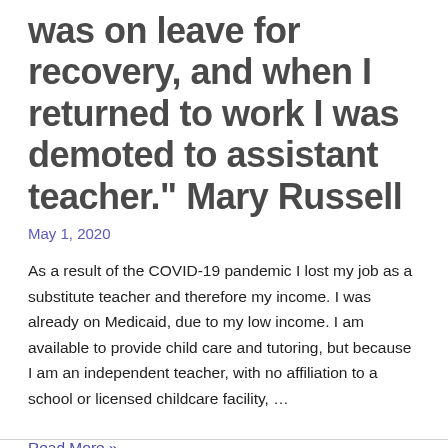was on leave for recovery, and when I returned to work I was demoted to assistant teacher." Mary Russell
May 1, 2020
As a result of the COVID-19 pandemic I lost my job as a substitute teacher and therefore my income. I was already on Medicaid, due to my low income. I am available to provide child care and tutoring, but because I am an independent teacher, with no affiliation to a school or licensed childcare facility, …
Read More »